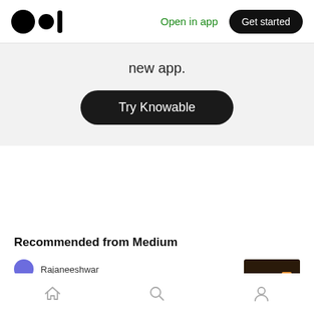Medium logo | Open in app | Get started
new app.
Try Knowable
Recommended from Medium
Rajaneeshwar
You Are What You Eat!
[Figure (photo): Thumbnail image of a person eating a burger with a drink]
Home | Search | Profile navigation icons